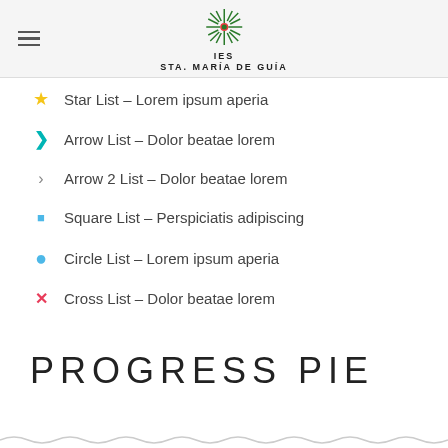IES STA. MARÍA DE GUÍA
Star List – Lorem ipsum aperia
Arrow List – Dolor beatae lorem
Arrow 2 List – Dolor beatae lorem
Square List – Perspiciatis adipiscing
Circle List – Lorem ipsum aperia
Cross List – Dolor beatae lorem
PROGRESS PIE